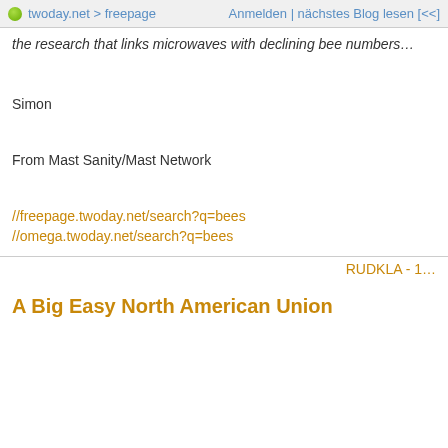twoday.net > freepage | Anmelden | nächstes Blog lesen [<<]
the research that links microwaves with declining bee numbers…
Simon
From Mast Sanity/Mast Network
//freepage.twoday.net/search?q=bees
//omega.twoday.net/search?q=bees
RUDKLA - 1…
A Big Easy North American Union